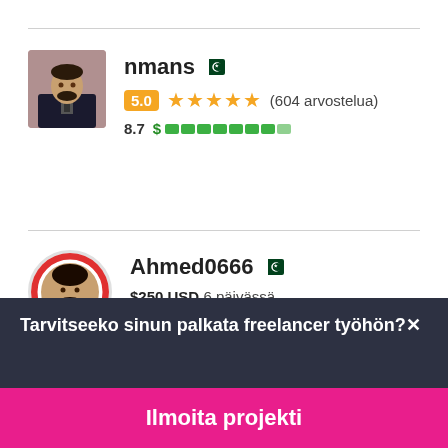[Figure (other): Freelancer profile card for 'nmans' with Pakistan flag, 5.0 star rating badge, 604 reviews, 8.7 earnings bar]
[Figure (other): Freelancer profile card for 'Ahmed0666' with Pakistan flag, $250 USD 6 päivässä]
Tarvitseeko sinun palkata freelancer työhön?
Ilmoita projekti